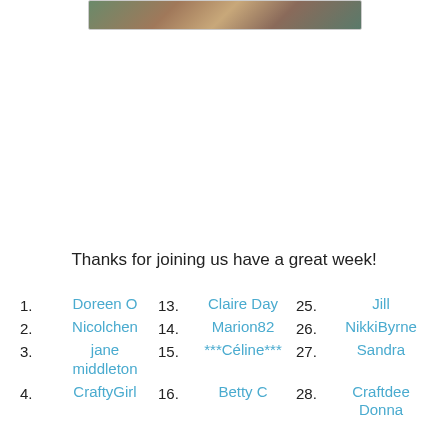[Figure (photo): Partial view of a colorful decorative image at the top of the page]
Thanks for joining us have a great week!
1. Doreen O
2. Nicolchen
3. jane middleton
4. CraftyGirl
13. Claire Day
14. Marion82
15. ***Céline***
16. Betty C
25. Jill
26. NikkiByrne
27. Sandra
28. Craftdee Donna